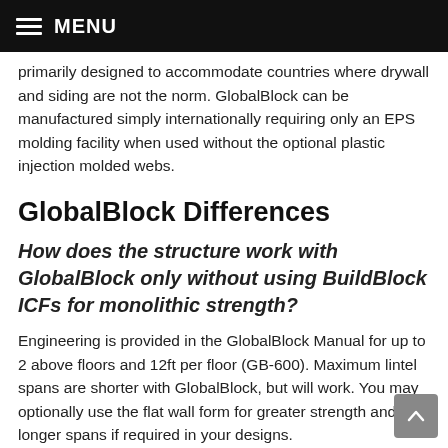MENU
primarily designed to accommodate countries where drywall and siding are not the norm. GlobalBlock can be manufactured simply internationally requiring only an EPS molding facility when used without the optional plastic injection molded webs.
GlobalBlock Differences
How does the structure work with GlobalBlock only without using BuildBlock ICFs for monolithic strength?
Engineering is provided in the GlobalBlock Manual for up to 2 above floors and 12ft per floor (GB-600). Maximum lintel spans are shorter with GlobalBlock, but will work. You may optionally use the flat wall form for greater strength and longer spans if required in your designs.
It is also possible to modify these forms by removing